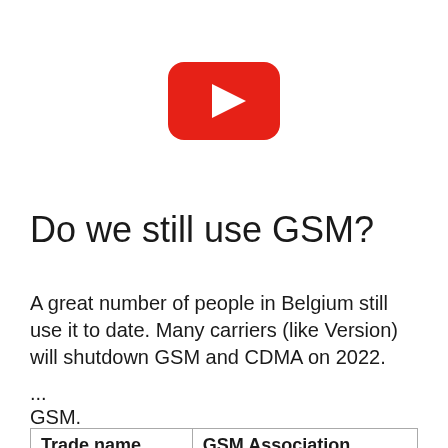[Figure (logo): YouTube logo - red rounded rectangle with white play triangle]
Do we still use GSM?
A great number of people in Belgium still use it to date. Many carriers (like Version) will shutdown GSM and CDMA on 2022.
...
GSM.
| Trade name | GSM Association |
| --- | --- |